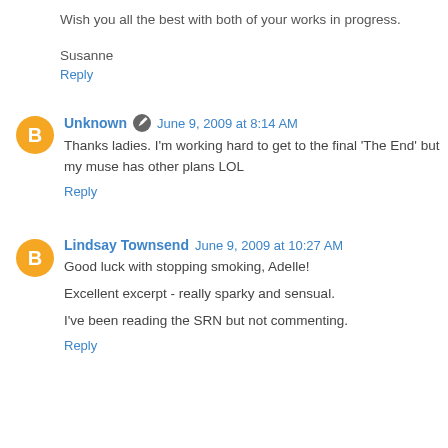Wish you all the best with both of your works in progress.
Susanne
Reply
Unknown  June 9, 2009 at 8:14 AM
Thanks ladies. I'm working hard to get to the final 'The End' but my muse has other plans LOL
Reply
Lindsay Townsend  June 9, 2009 at 10:27 AM
Good luck with stopping smoking, Adelle!
Excellent excerpt - really sparky and sensual.
I've been reading the SRN but not commenting.
Reply